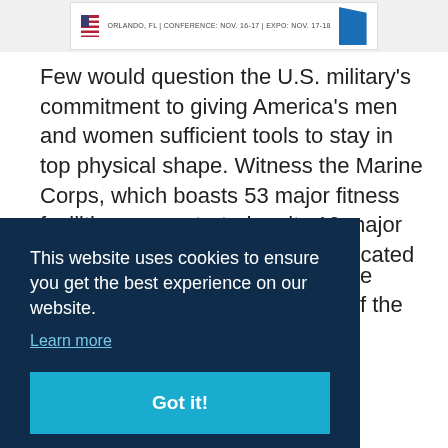[Figure (screenshot): Top banner/advertisement with a flag icon, text reading 'ORLANDO, FL | CONFERENCE: NOV. 16-17 | EXPO: NOV. 17-18' and a blue geometric block on the right.]
Few would question the U.S. military's commitment to giving America's men and women sufficient tools to stay in top physical shape. Witness the Marine Corps, which boasts 53 major fitness facilities concentrated on its 19 major installations. Camp Pendleton, located just north of San Diego, provides [partially obscured] ...ajor [partially obscured] ...IC has [partially obscured] ...ouse, [partially obscured] ...a [partially obscured] ...e [partially obscured] ...f the USMC's Semper Fit program.
This website uses cookies to ensure you get the best experience on our website.
Learn more
Got it!